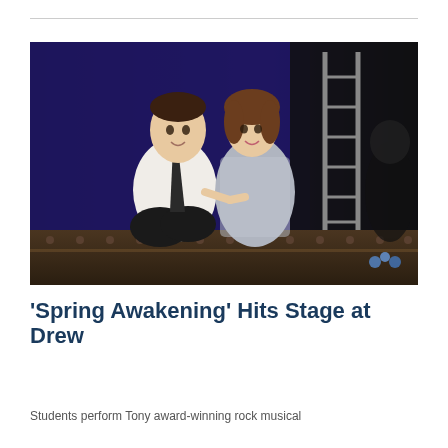[Figure (photo): Two students performing on stage in a theatrical production. A young man in a white shirt and dark tie sits cross-legged on the left, and a young woman in a sparkly grey dress sits on the right holding his hand. They are on a metal platform with a ladder and blue backdrop behind them.]
'Spring Awakening' Hits Stage at Drew
Students perform Tony award-winning rock musical